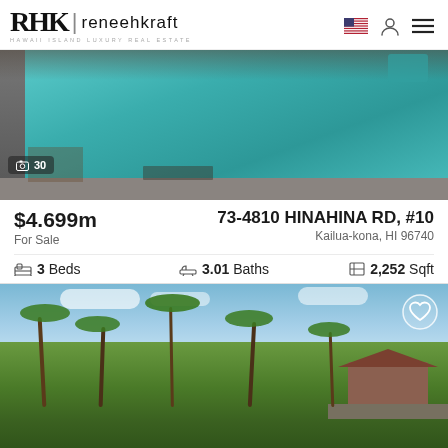RHK | reneehkraft — HAWAII ISLAND LUXURY REAL ESTATE
[Figure (photo): Aerial view of a luxury pool at 73-4810 Hinahina Rd #10, Kailua-Kona, HI — turquoise rectangular pool with stone surround and lounge chairs]
📷 30
$4.699m
For Sale
73-4810 HINAHINA RD, #10
Kailua-kona, HI 96740
3 Beds   3.01 Baths   2,252 Sqft
[Figure (photo): Tropical landscape view of luxury real estate property with palm trees, ocean in background, and a large home with tiled roof in Kailua-Kona, Hawaii]